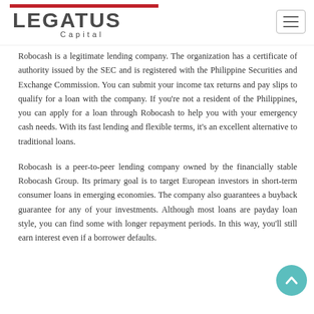[Figure (logo): Legatus Capital logo with red bar and dark grey bold text]
Robocash is a legitimate lending company. The organization has a certificate of authority issued by the SEC and is registered with the Philippine Securities and Exchange Commission. You can submit your income tax returns and pay slips to qualify for a loan with the company. If you're not a resident of the Philippines, you can apply for a loan through Robocash to help you with your emergency cash needs. With its fast lending and flexible terms, it's an excellent alternative to traditional loans.
Robocash is a peer-to-peer lending company owned by the financially stable Robocash Group. Its primary goal is to target European investors in short-term consumer loans in emerging economies. The company also guarantees a buyback guarantee for any of your investments. Although most loans are payday loan style, you can find some with longer repayment periods. In this way, you'll still earn interest even if a borrower defaults.